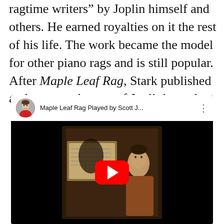ragtime writers" by Joplin himself and others. He earned royalties on it the rest of his life. The work became the model for other piano rags and is still popular. After Maple Leaf Rag, Stark published and promoted many of Joplin's works.
[Figure (screenshot): YouTube video embed showing 'Maple Leaf Rag Played by Scott J...' with a thumbnail of a painting of a man at a piano and a red play button overlay.]